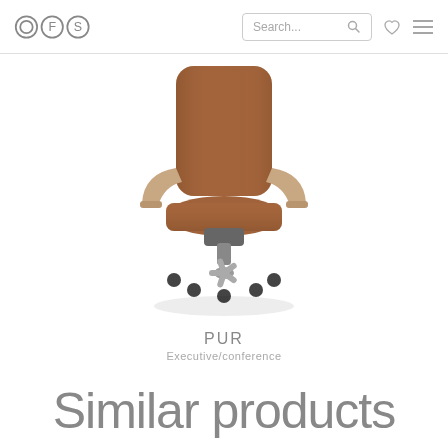OFS logo, Search, Heart, Menu
[Figure (photo): Brown leather executive office chair with high back, chrome/silver armrests, and five-star wheeled base on white background]
PUR
Executive/conference
Similar products